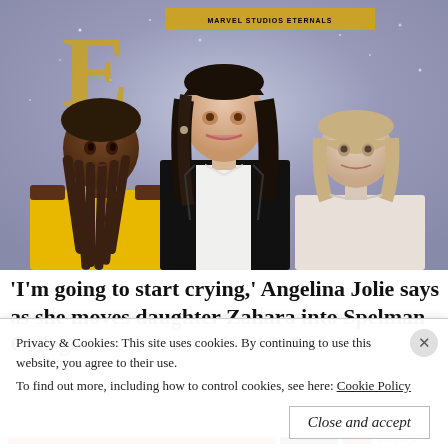[Figure (photo): Three people posing at what appears to be a movie premiere or red carpet event. A young Black woman with long braided hair wearing a yellow strapless top stands on the left. A tall woman with long dark hair wearing a black blazer and white blouse stands in the center (Angelina Jolie). A young girl with short blonde hair wearing a light pink top stands on the right. The background has a purple/gray starry pattern with partial gold lettering visible.]
'I'm going to start crying,' Angelina Jolie says as she moves daughter Zahara into Spelman College
Privacy & Cookies: This site uses cookies. By continuing to use this website, you agree to their use.
To find out more, including how to control cookies, see here: Cookie Policy
Close and accept